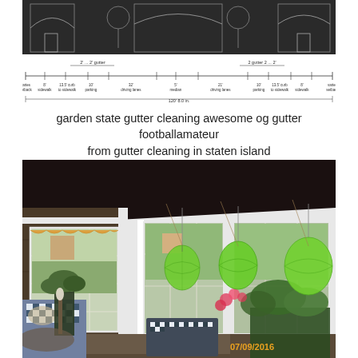[Figure (engineering-diagram): Technical road cross-section diagram showing gutter placement, driving lanes, parking, sidewalk, curb measurements on a dark background. Labels include: varies setback, 8' sidewalk, 13.5' curb to sidewalk, 10' parking, 32' driving lanes, 5' median, 21' driving lanes, 10' parking, 13.5' curb to sidewalk, 8' sidewalk, varies setback. Total width shown as 120' 8.0 in. Gutter positions marked at top.]
garden state gutter cleaning awesome og gutter footballamateur from gutter cleaning in staten island
[Figure (photo): Interior photo of a sunroom or screened porch with white-framed windows, dark ceiling, hanging green paper lanterns, blue/white checkered furniture, potted plants and flowers, taken on 07/09/2016.]